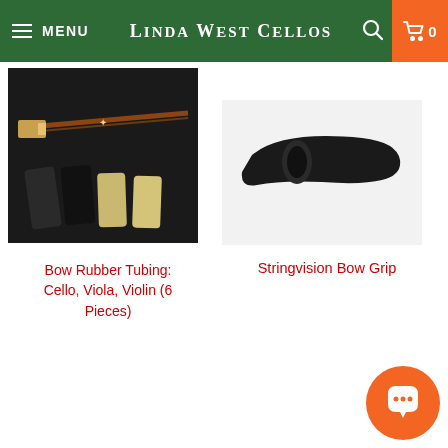MENU | LINDA WEST CELLOS | 0
[Figure (photo): Photo of bow rubber tubing pieces for cello, viola, and violin — 6 pieces shown on dark background]
Bow Rubber Tubing: Cello, Viola, Violin (6 Pieces)
[Figure (photo): Photo of a black Stringvision Bow Grip on white/light background]
Stringvision Bow Grip
[Figure (infographic): Social sharing buttons: Twitter, Facebook, Pinterest, Email]
The T series cello bows special characteristics is a sound that combines great warmth and depth with a wide range of overtones and brilliance. The elasticity of the stick is pre matched to modern steel core strings and while they feel soft when playing lightly, their stiffness kicks in when power and